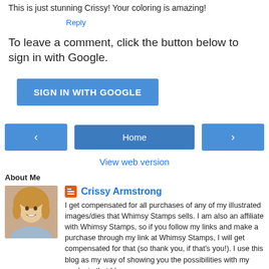This is just stunning Crissy! Your coloring is amazing!
Reply
To leave a comment, click the button below to sign in with Google.
SIGN IN WITH GOOGLE
‹
Home
›
View web version
About Me
Crissy Armstrong
I get compensated for all purchases of any of my illustrated images/dies that Whimsy Stamps sells. I am also an affiliate with Whimsy Stamps, so if you follow my links and make a purchase through my link at Whimsy Stamps, I will get compensated for that (so thank you, if that's you!). I use this blog as my way of showing you the possibilities with my products that I have